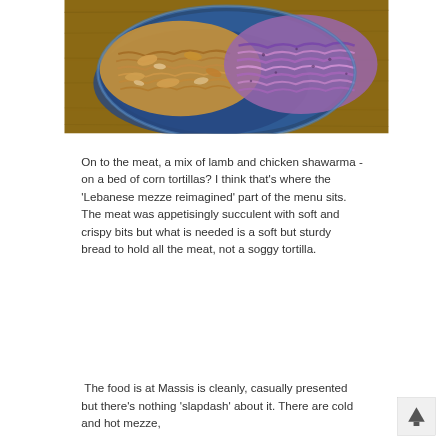[Figure (photo): Overhead view of a blue ceramic dish on a wooden table surface containing a mix of shredded meat (lamb and chicken shawarma) with crispy bits on the left and purple/pink shredded cabbage on the right.]
On to the meat, a mix of lamb and chicken shawarma - on a bed of corn tortillas? I think that's where the 'Lebanese mezze reimagined' part of the menu sits. The meat was appetisingly succulent with soft and crispy bits but what is needed is a soft but sturdy bread to hold all the meat, not a soggy tortilla.
The food is at Massis is cleanly, casually presented but there's nothing 'slapdash' about it. There are cold and hot mezze,